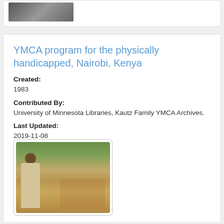[Figure (photo): Top partial photo card showing a cropped photograph, partially visible at top of page]
YMCA program for the physically handicapped, Nairobi, Kenya
Created:
1983
Contributed By:
University of Minnesota Libraries, Kautz Family YMCA Archives.
Last Updated:
2019-11-08
[Figure (photo): Outdoor photograph showing people in an open area with trees in the background, appearing to be from 1983 Kenya]